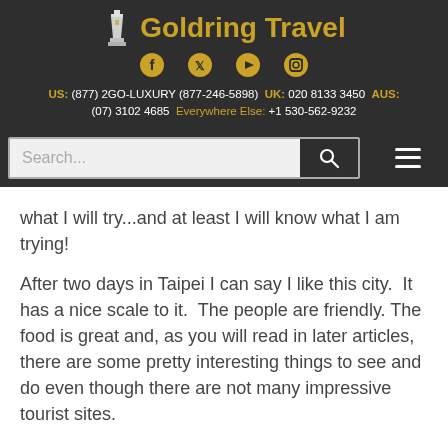Goldring Travel
US: (877) 2GO-LUXURY (877-246-5898) UK: 020 8133 3450 AUS: (07) 3102 4685 Everywhere Else: +1 530-562-9232
what I will try...and at least I will know what I am trying!
After two days in Taipei I can say I like this city. It has a nice scale to it. The people are friendly. The food is great and, as you will read in later articles, there are some pretty interesting things to see and do even though there are not many impressive tourist sites.